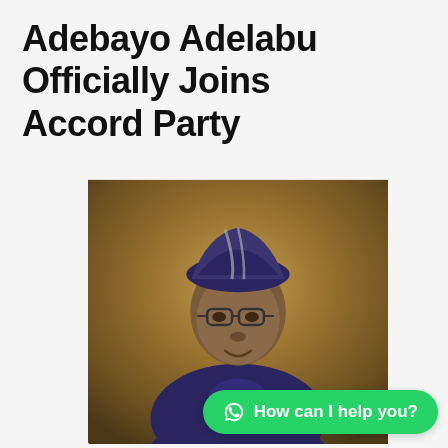Adebayo Adelabu Officially Joins Accord Party
[Figure (photo): Portrait photo of Adebayo Adelabu, a man wearing blue traditional Nigerian attire (agbada) and a blue/white striped fila cap, with glasses, posed against a golden-brown studio background.]
How can I help you?